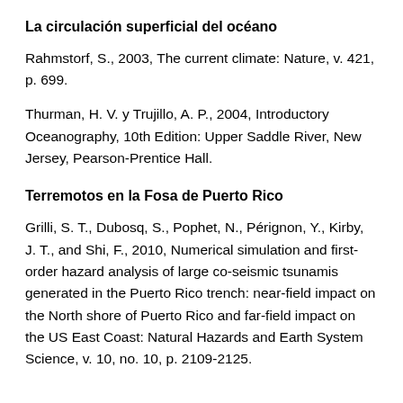La circulación superficial del océano
Rahmstorf, S., 2003, The current climate: Nature, v. 421, p. 699.
Thurman, H. V. y Trujillo, A. P., 2004, Introductory Oceanography, 10th Edition: Upper Saddle River, New Jersey, Pearson-Prentice Hall.
Terremotos en la Fosa de Puerto Rico
Grilli, S. T., Dubosq, S., Pophet, N., Pérignon, Y., Kirby, J. T., and Shi, F., 2010, Numerical simulation and first-order hazard analysis of large co-seismic tsunamis generated in the Puerto Rico trench: near-field impact on the North shore of Puerto Rico and far-field impact on the US East Coast: Natural Hazards and Earth System Science, v. 10, no. 10, p. 2109-2125.